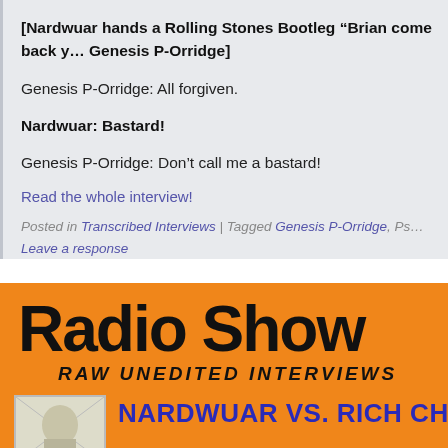[Nardwuar hands a Rolling Stones Bootleg “Brian come back y... Genesis P-Orridge]
Genesis P-Orridge: All forgiven.
Nardwuar: Bastard!
Genesis P-Orridge: Don’t call me a bastard!
Read the whole interview!
Posted in Transcribed Interviews | Tagged Genesis P-Orridge, Ps... Leave a response
[Figure (illustration): Orange banner graphic for Radio Show with text 'RADIO SHOW RAW UNEDITED INTERVIEWS' and 'NARDWUAR VS. RICH CH...' with a small thumbnail image in bottom left corner]